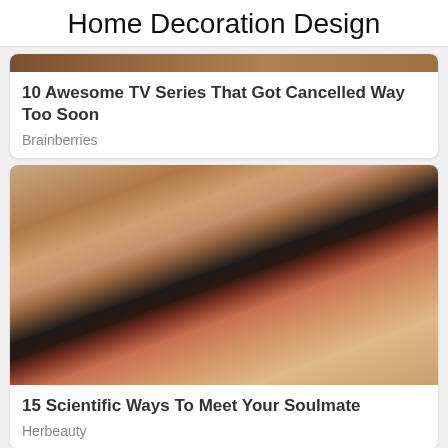Home Decoration Design
[Figure (photo): Partial image strip at top of Brainberries card (cut off)]
10 Awesome TV Series That Got Cancelled Way Too Soon
Brainberries
[Figure (photo): Close-up photo of two people kissing, woman with red lips wearing dark lipstick]
15 Scientific Ways To Meet Your Soulmate
Herbeauty
[Figure (photo): Partial image at bottom showing blonde hair (cut off)]